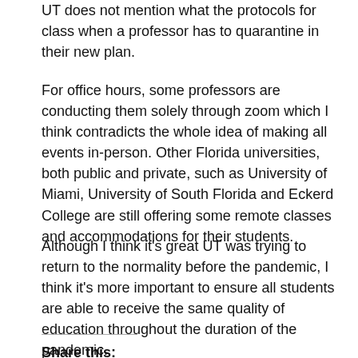UT does not mention what the protocols for class when a professor has to quarantine in their new plan.
For office hours, some professors are conducting them solely through zoom which I think contradicts the whole idea of making all events in-person. Other Florida universities, both public and private, such as University of Miami, University of South Florida and Eckerd College are still offering some remote classes and accommodations for their students.
Although I think it's great UT was trying to return to the normality before the pandemic, I think it's more important to ensure all students are able to receive the same quality of education throughout the duration of the pandemic.
Share this: